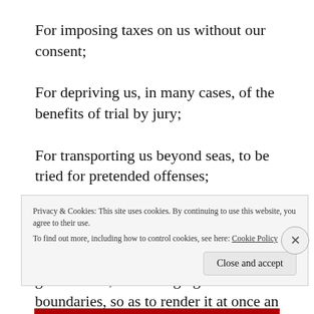For imposing taxes on us without our consent;
For depriving us, in many cases, of the benefits of trial by jury;
For transporting us beyond seas, to be tried for pretended offenses;
For abolishing the free system of English laws in a neighboring province, establishing therein an arbitrary government, and enlarging its boundaries, so as to render it at once an example and fit instrument for introducing the same absolute rule into these colonies;
Privacy & Cookies: This site uses cookies. By continuing to use this website, you agree to their use. To find out more, including how to control cookies, see here: Cookie Policy